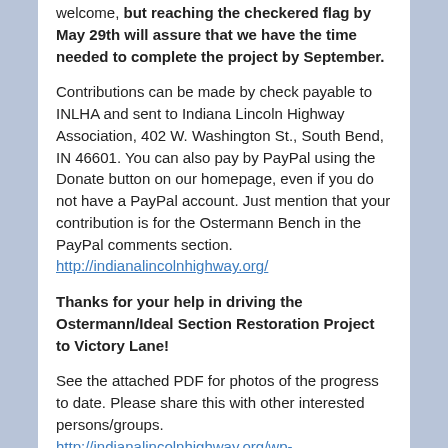welcome, but reaching the checkered flag by May 29th will assure that we have the time needed to complete the project by September.
Contributions can be made by check payable to INLHA and sent to Indiana Lincoln Highway Association, 402 W. Washington St., South Bend, IN 46601. You can also pay by PayPal using the Donate button on our homepage, even if you do not have a PayPal account. Just mention that your contribution is for the Ostermann Bench in the PayPal comments section.
http://indianalincolnhighway.org/
Thanks for your help in driving the Ostermann/Ideal Section Restoration Project to Victory Lane!
See the attached PDF for photos of the progress to date. Please share this with other interested persons/groups.
http://indianalincolnhighway.org/wp-content/uploads/2016/05/Ideal-Section-Ostermann-Seat-Renovation.pdf